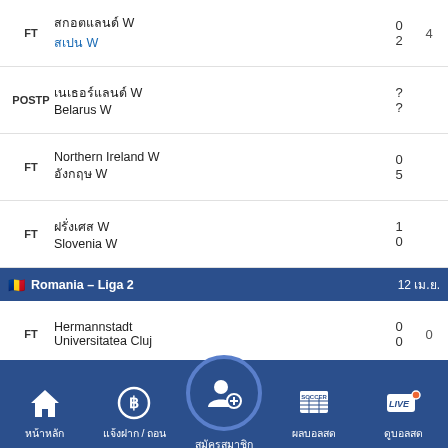| Status | Teams | Score | Extra |
| --- | --- | --- | --- |
| FT | สกอตแลนด์ W / สเปน W | 0 / 2 | 4 |
| POSTP | เนเธอร์แลนด์ W / Belarus W | ? / ? |  |
| FT | Northern Ireland W / อังกฤษ W | 0 / 5 |  |
| FT | ฝรั่งเศส W / Slovenia W | 1 / 0 |  |
Romania – Liga 2   12 เม.ย.
| Status | Teams | Score | Extra |
| --- | --- | --- | --- |
| FT | Hermannstadt / Universitatea Cluj | 0 / 0 | 0 |
Australia – Northern NSW FFA Cup Preliminary   12 เม.ย.
Weston Bears   8
[Figure (screenshot): Bottom navigation bar with Home, Deposit/Withdraw, Register, Soccer Results, Watch Live icons]